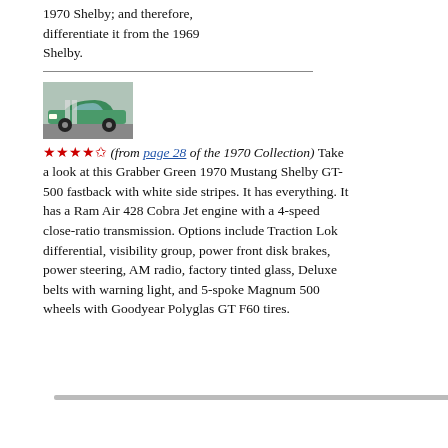1970 Shelby; and therefore, differentiate it from the 1969 Shelby.
[Figure (photo): Green 1970 Mustang Shelby GT-500 fastback car, front three-quarter view]
★★★★✩ (from page 28 of the 1970 Collection) Take a look at this Grabber Green 1970 Mustang Shelby GT-500 fastback with white side stripes. It has everything. It has a Ram Air 428 Cobra Jet engine with a 4-speed close-ratio transmission. Options include Traction Lok differential, visibility group, power front disk brakes, power steering, AM radio, factory tinted glass, Deluxe belts with warning light, and 5-spoke Magnum 500 wheels with Goodyear Polyglas GT F60 tires.